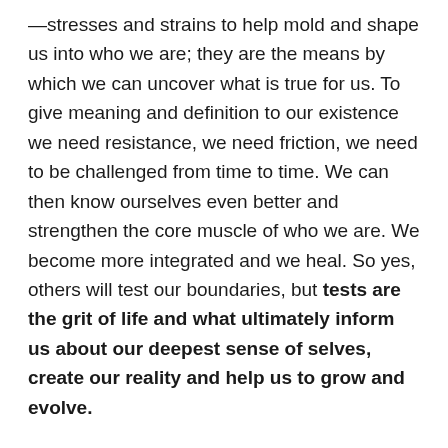—stresses and strains to help mold and shape us into who we are; they are the means by which we can uncover what is true for us. To give meaning and definition to our existence we need resistance, we need friction, we need to be challenged from time to time. We can then know ourselves even better and strengthen the core muscle of who we are. We become more integrated and we heal. So yes, others will test our boundaries, but tests are the grit of life and what ultimately inform us about our deepest sense of selves, create our reality and help us to grow and evolve.
When tested, you need to stand up for yourself, but first you need to know who that self is: What defines you? What makes you you? What constitutes your self-preservation? This is where boundaries come in. If someone is not respectful of them or your time and